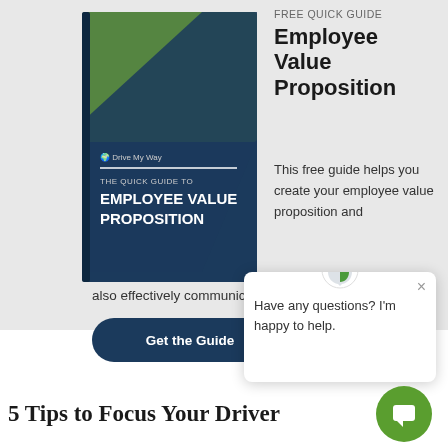[Figure (illustration): Book cover titled 'The Quick Guide to Employee Value Proposition' with Drive My Way branding, showing a person working on a vehicle]
FREE QUICK GUIDE
Employee Value Proposition
This free guide helps you create your employee value proposition and also effectively communicate it to drivers
[Figure (other): Get the Guide button - dark navy rounded button]
[Figure (other): Chat popup with Drive My Way logo and text: Have any questions? I'm happy to help.]
[Figure (other): Green circle chat bubble button]
5 Tips to Focus Your Driver